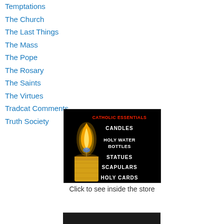Temptations
The Church
The Last Things
The Mass
The Pope
The Rosary
The Saints
The Virtues
Tradcat Comments
Truth Society
[Figure (illustration): Catholic Essentials store advertisement showing a lit candle on black background with text listing: CANDLES, HOLY WATER BOTTLES, STATUES, SCAPULARS, HOLY CARDS in white/red text]
Click to see inside the store